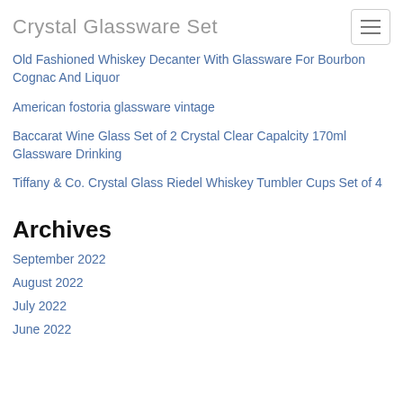Crystal Glassware Set
Old Fashioned Whiskey Decanter With Glassware For Bourbon Cognac And Liquor
American fostoria glassware vintage
Baccarat Wine Glass Set of 2 Crystal Clear Capalcity 170ml Glassware Drinking
Tiffany & Co. Crystal Glass Riedel Whiskey Tumbler Cups Set of 4
Archives
September 2022
August 2022
July 2022
June 2022